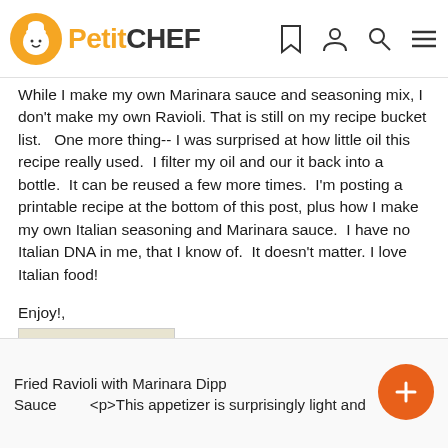PetitCHEF
While I make my own Marinara sauce and seasoning mix, I don't make my own Ravioli. That is still on my recipe bucket list.   One more thing-- I was surprised at how little oil this recipe really used.  I filter my oil and our it back into a bottle.  It can be reused a few more times.  I'm posting a printable recipe at the bottom of this post, plus how I make my own Italian seasoning and Marinara sauce.  I have no Italian DNA in me, that I know of.  It doesn't matter. I love Italian food!
Enjoy!,
[Figure (illustration): Handwritten cursive signature reading 'Debby' on a beige/tan background]
Fried Ravioli with Marinara Dipping Sauce        <p>This appetizer is surprisingly light and